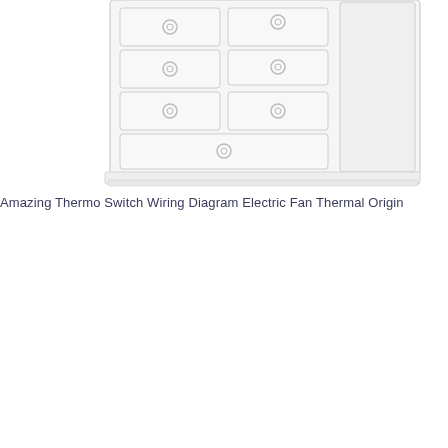[Figure (illustration): Partial view of a white wooden chest of drawers (dresser) showing multiple drawers with round ring pulls, rendered in a light outline/sketch style against a white background. The image is cropped showing mostly the right and center portion of the furniture piece.]
Amazing Thermo Switch Wiring Diagram Electric Fan Thermal Origin